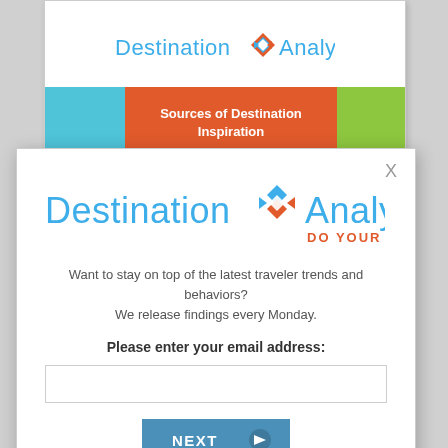[Figure (logo): Destination Analysts logo on background card]
Sources of Destination Inspiration
Periscope Broadcast Series
[Figure (logo): Destination Analysts logo with tagline DO YOUR RESEARCH in modal popup]
Want to stay on top of the latest traveler trends and behaviors? We release findings every Monday.
Please enter your email address:
NEXT